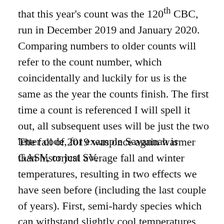that this year's count was the 120th CBC, run in December 2019 and January 2020. Comparing numbers to older counts will refer to the count number, which coincidentally and luckily for us is the same as the year the counts finish. The first time a count is referenced I will spell it out, all subsequent uses will be just the two letter code, for example Savannah is GASV, or just SV.
The fall of 2019 was once again warmer than historical average fall and winter temperatures, resulting in two effects we have seen before (including the last couple of years). First, semi-hardy species which can withstand slightly cool temperatures will winter farther north than they normally would without real cold to chase them south. Secondly, hardier more northerly species like gulls and some waterfowl will not get pushed this